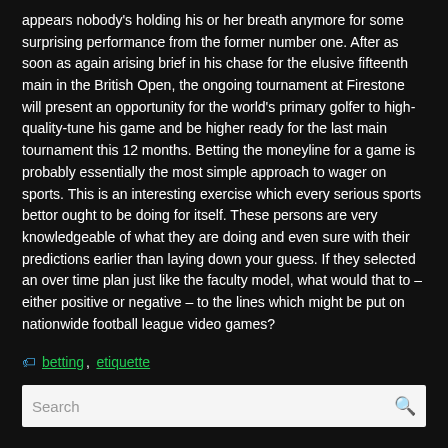appears nobody's holding his or her breath anymore for some surprising performance from the former number one. After as soon as again arising brief in his chase for the elusive fifteenth main in the British Open, the ongoing tournament at Firestone will present an opportunity for the world's primary golfer to high-quality-tune his game and be higher ready for the last main tournament this 12 months. Betting the moneyline for a game is probably essentially the most simple approach to wager on sports. This is an interesting exercise which every serious sports bettor ought to be doing for itself. These persons are very knowledgeable of what they are doing and even sure with their predictions earlier than laying down your guess. If they selected an over time plan just like the faculty model, what would that to – either positive or negative – to the lines which might be put on nationwide football league video games?
betting, etiquette
Search
RECENT POSTS
Nothing To See Right Here. Only A Bunch Of Us Agreeing A 3 Fundamental Football Guidelines